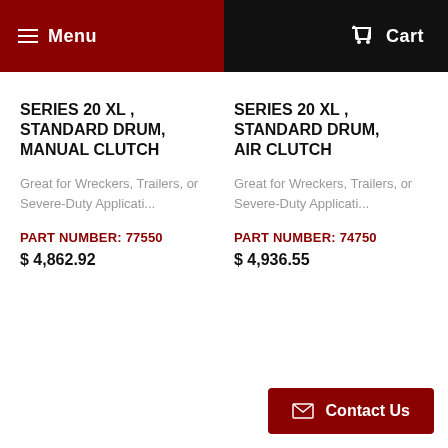Menu   Cart
SERIES 20 XL , STANDARD DRUM, MANUAL CLUTCH
Great for Wreckers, Trailers, or Severe-Duty Applicati...
PART NUMBER: 77550
$ 4,862.92
SERIES 20 XL , STANDARD DRUM, AIR CLUTCH
Great for Wreckers, Trailers, or Severe-Duty Applicati...
PART NUMBER: 74750
$ 4,936.55
Contact Us